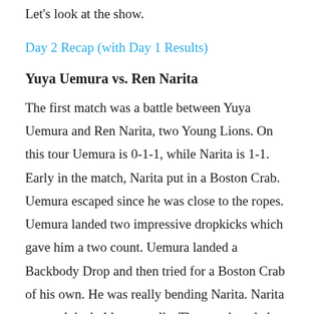Let's look at the show.
Day 2 Recap (with Day 1 Results)
Yuya Uemura vs. Ren Narita
The first match was a battle between Yuya Uemura and Ren Narita, two Young Lions. On this tour Uemura is 0-1-1, while Narita is 1-1. Early in the match, Narita put in a Boston Crab. Uemura escaped since he was close to the ropes. Uemura landed two impressive dropkicks which gave him a two count. Uemura landed a Backbody Drop and then tried for a Boston Crab of his own. He was really bending Narita. Narita escaped the hold eventually. The match ended after Narita landed a very good looking Belly-To-Belly German Suplex bridged into a pinfall.